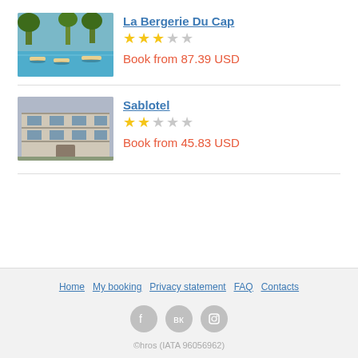[Figure (photo): Hotel exterior photo showing pool area with lounge chairs and trees for La Bergerie Du Cap]
La Bergerie Du Cap
★★★☆☆ (3 of 5 stars)
Book from 87.39 USD
[Figure (photo): Hotel exterior photo showing building facade for Sablotel]
Sablotel
★★☆☆☆ (2 of 5 stars)
Book from 45.83 USD
Home  My booking  Privacy statement  FAQ  Contacts  ©hros (IATA 96056962)